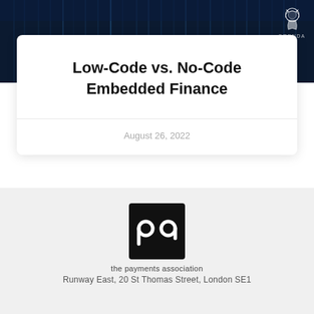[Figure (illustration): Dark blue digital/tech themed hero banner with vertical light streaks, and a lion logo with ORENDA text in the top right corner]
Low-Code vs. No-Code Embedded Finance
August 26, 2022
[Figure (logo): The Payments Association logo: black square with white 'pa' letters in rounded style, with 'the payments association' text below]
Runway East, 20 St Thomas Street, London SE1